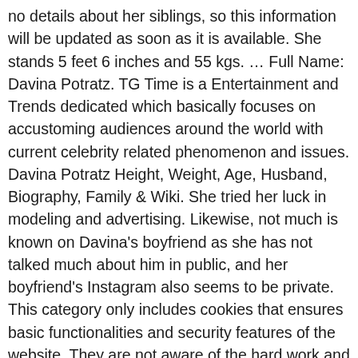no details about her siblings, so this information will be updated as soon as it is available. She stands 5 feet 6 inches and 55 kgs. … Full Name: Davina Potratz. TG Time is a Entertainment and Trends dedicated which basically focuses on accustoming audiences around the world with current celebrity related phenomenon and issues. Davina Potratz Height, Weight, Age, Husband, Biography, Family & Wiki. She tried her luck in modeling and advertising. Likewise, not much is known on Davina's boyfriend as she has not talked much about him in public, and her boyfriend's Instagram also seems to be private. This category only includes cookies that ensures basic functionalities and security features of the website. They are not aware of the hard work and efforts involved in it. The arrangement tracks the gathering of specialists as they explore their own and expert lives. She has also not shared anything related to her love life and children. She is actively present on Twitter with 552 followers and Instagram with 13.1K fans. How old is Davina Potratz? The